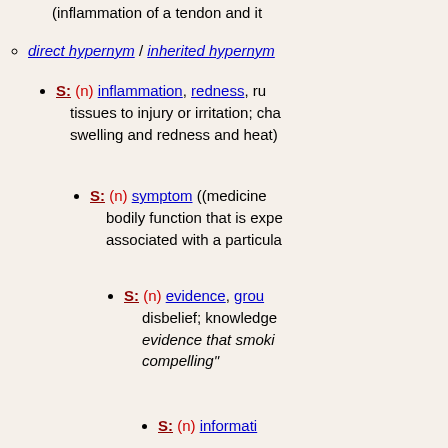(inflammation of a tendon and it…
direct hypernym / inherited hypernym…
S: (n) inflammation, redness, ru… tissues to injury or irritation; cha… swelling and redness and heat)
S: (n) symptom ((medicine… bodily function that is expe… associated with a particula…
S: (n) evidence, grou… disbelief; knowledge… evidence that smoki… compelling"
S: (n) informati… through study o…
S: (n) cog… (the psyc… and learn…
S: (… fea… livin…